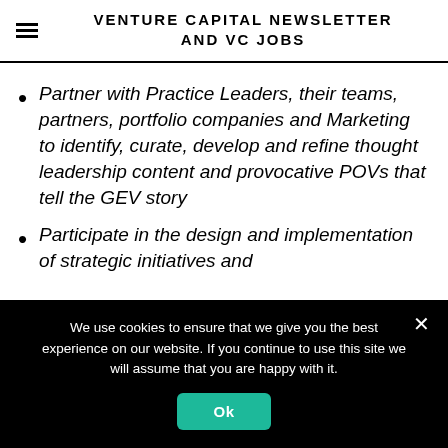VENTURE CAPITAL NEWSLETTER AND VC JOBS
Partner with Practice Leaders, their teams, partners, portfolio companies and Marketing to identify, curate, develop and refine thought leadership content and provocative POVs that tell the GEV story
Participate in the design and implementation of strategic initiatives and
We use cookies to ensure that we give you the best experience on our website. If you continue to use this site we will assume that you are happy with it.